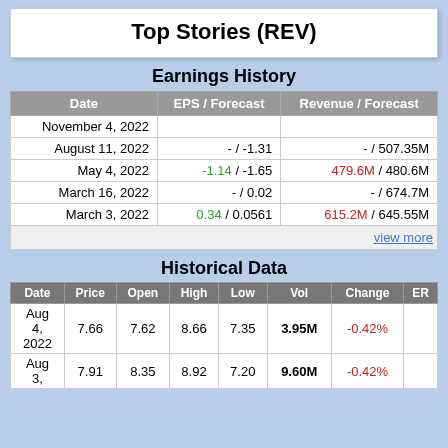Top Stories (REV)
Earnings History
| Date | EPS / Forecast | Revenue / Forecast |
| --- | --- | --- |
| November 4, 2022 |  |  |
| August 11, 2022 | - / -1.31 | - / 507.35M |
| May 4, 2022 | -1.14 / -1.65 | 479.6M / 480.6M |
| March 16, 2022 | - / 0.02 | - / 674.7M |
| March 3, 2022 | 0.34 / 0.0561 | 615.2M / 645.55M |
| view more |  |  |
Historical Data
| Date | Price | Open | High | Low | Vol | Change | ER |
| --- | --- | --- | --- | --- | --- | --- | --- |
| Aug 4, 2022 | 7.66 | 7.62 | 8.66 | 7.35 | 3.95M | -0.42% |  |
| Aug 3, | 7.91 | 8.35 | 8.92 | 7.20 | 9.60M | -0.42% |  |